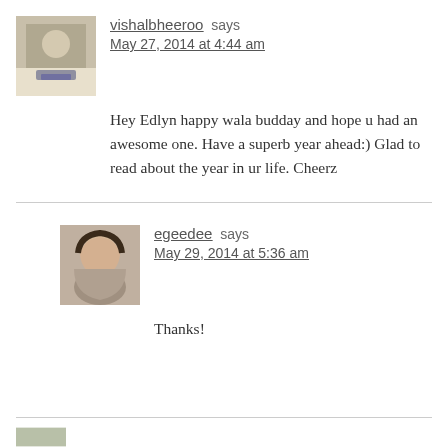[Figure (photo): Small avatar photo of vishalbheeroo, person sitting at desk]
vishalbheeroo says
May 27, 2014 at 4:44 am
Hey Edlyn happy wala budday and hope u had an awesome one. Have a superb year ahead:) Glad to read about the year in ur life. Cheerz
[Figure (photo): Small avatar photo of egeedee, woman with dark hair]
egeedee says
May 29, 2014 at 5:36 am
Thanks!